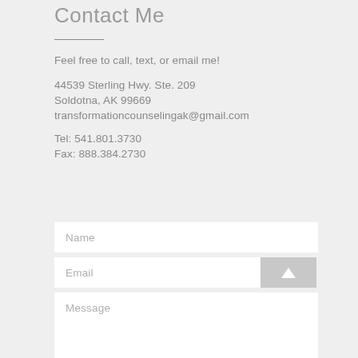Contact Me
Feel free to call, text, or email me!
44539 Sterling Hwy. Ste. 209
Soldotna, AK 99669
transformationcounselingak@gmail.com
Tel: 541.801.3730
Fax: 888.384.2730
[Figure (screenshot): Contact form with Name, Email (with scroll-to-top button), and Message fields]